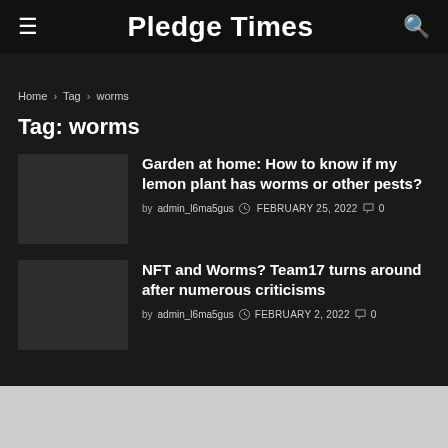Pledge Times
Home › Tag › worms
Tag: worms
Garden at home: How to know if my lemon plant has worms or other pests?
by admin_l6ma5gus  FEBRUARY 25, 2022  0
NFT and Worms? Team17 turns around after numerous criticisms
by admin_l6ma5gus  FEBRUARY 2, 2022  0